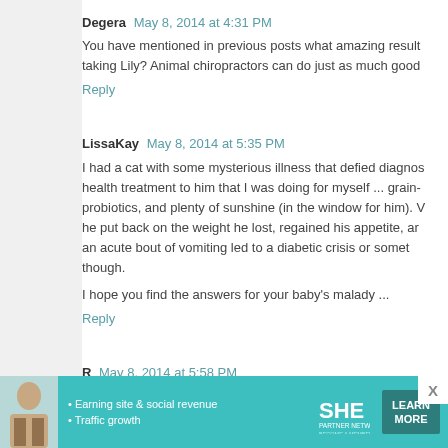Degera  May 8, 2014 at 4:31 PM
You have mentioned in previous posts what amazing results taking Lily? Animal chiropractors can do just as much good
Reply
LissaKay  May 8, 2014 at 5:35 PM
I had a cat with some mysterious illness that defied diagnosis health treatment to him that I was doing for myself ... grain- probiotics, and plenty of sunshine (in the window for him). he put back on the weight he lost, regained his appetite, an acute bout of vomiting led to a diabetic crisis or someth though.
I hope you find the answers for your baby's malady ...
Reply
R  May 8, 2014 at 5:58 PM
Like a few others, I was going to suggest a raw diet, s part of their diet, and I know they make cat food as w
[Figure (infographic): Advertisement banner for SHE Partner Network showing a woman, bullet points about earning site & social revenue and traffic growth, SHE logo, and a Learn More button.]